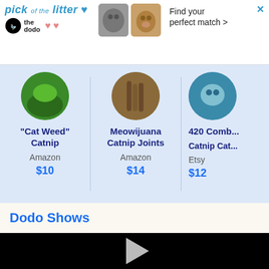[Figure (screenshot): Ad banner for 'The Dodo' showing 'pick of the litter' with pet images and 'Find your perfect match >' text]
"Cat Weed" Catnip
Amazon
$10
Meowijuana Catnip Joints
Amazon
$14
420 Combo Catnip Cat
Etsy
$12
Dodo Shows
[Figure (screenshot): Black video player with play button in center]